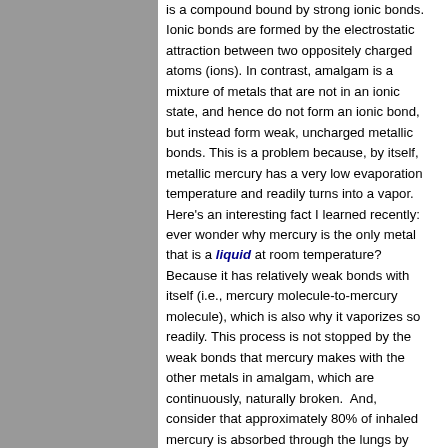is a compound bound by strong ionic bonds. Ionic bonds are formed by the electrostatic attraction between two oppositely charged atoms (ions). In contrast, amalgam is a mixture of metals that are not in an ionic state, and hence do not form an ionic bond, but instead form weak, uncharged metallic bonds. This is a problem because, by itself, metallic mercury has a very low evaporation temperature and readily turns into a vapor. Here's an interesting fact I learned recently: ever wonder why mercury is the only metal that is a liquid at room temperature? Because it has relatively weak bonds with itself (i.e., mercury molecule-to-mercury molecule), which is also why it vaporizes so readily. This process is not stopped by the weak bonds that mercury makes with the other metals in amalgam, which are continuously, naturally broken.  And, consider that approximately 80% of inhaled mercury is absorbed through the lungs by humans. Additional mercury from the breakdown of amalgam is also dissolved